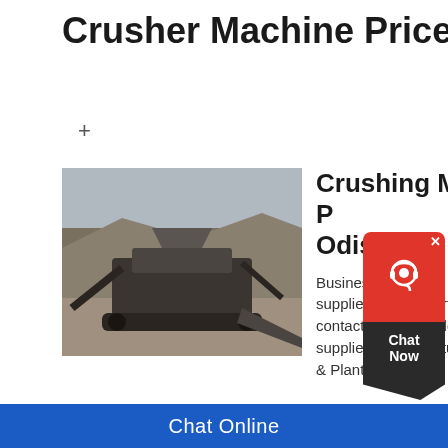Crusher Machine Price In Orissa
+
[Figure (photo): Outdoor crusher machine operating at a quarry/mining site, machinery visible against rocky background]
Crushing Machines & P... Odisha
Business listings of Crushing ... suppliers and exporters in Bh... contact details & address. Fin... suppliers, manufacturers, wholesale... & Plants prices
[Figure (photo): Aerial or elevated view of a crushing machine/plant setup at a mining or construction site]
Crushing Machines & P... Odisha Crushing
Business listings of Crushing Machi... suppliers and exporters in Rourkela
[Figure (other): Chat support widget with red bubble icon and dark Chat Now label]
Chat Online